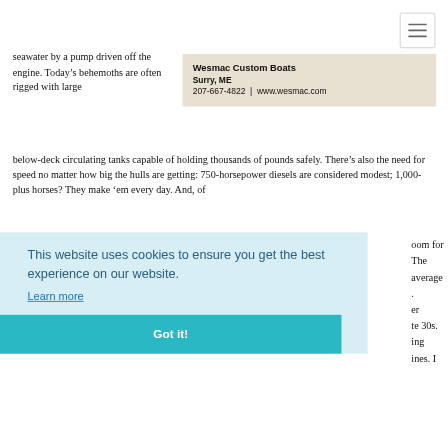[Figure (other): Hamburger menu icon in top-right corner]
seawater by a pump driven off the engine. Today’s behemoths are often rigged with large below-deck circulating tanks capable of holding thousands of pounds safely. There’s also the need for speed no matter how big the hulls are getting: 750-horsepower diesels are considered modest; 1,000-plus horses? They make ’em every day. And, of
Wesmac Custom Boats
Surry, ME
207-667-4822 | www.wesmac.com
oom for
The
average
.
er
te 30s.
ing
ines. I
This website uses cookies to ensure you get the best experience on our website.
Learn more
Got it!
just hope the landings hang in there for these guys.  Brian